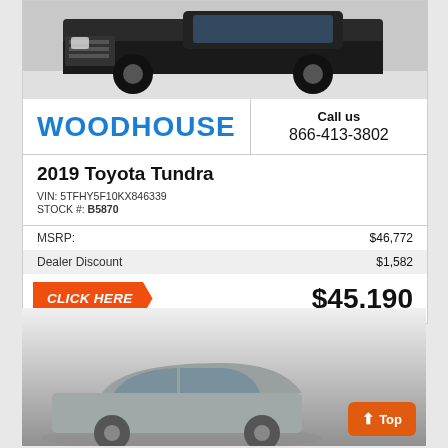[Figure (photo): Black Toyota Tundra truck front/side view in a dealership showroom]
WOODHOUSE
Call us
866-413-3802
2019 Toyota Tundra
VIN: 5TFHY5F10KX846339
STOCK #: B5870
|  |  |
| --- | --- |
| MSRP: | $46,772 |
| Dealer Discount | $1,582 |
CLICK HERE
$45,190
[Figure (photo): Gray/silver car partially visible at the bottom of the page]